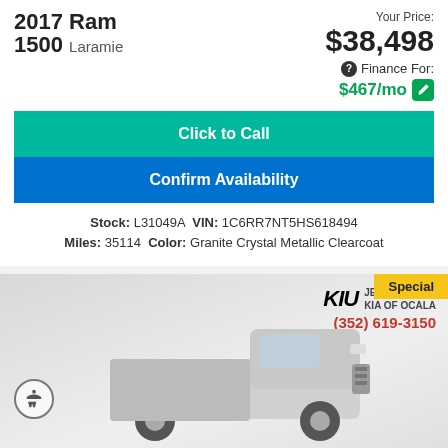2017 Ram 1500 Laramie
Your Price: $38,498
Finance For: $467/mo
Click to Call
Confirm Availability
Stock: L31049A VIN: 1C6RR7NT5HS618494 Miles: 35114 Color: Granite Crystal Metallic Clearcoat
[Figure (photo): Photo of a silver 2017 Ram 1500 truck with Kia of Ocala dealer branding overlay showing (352) 619-3150. Special badge in top right corner.]